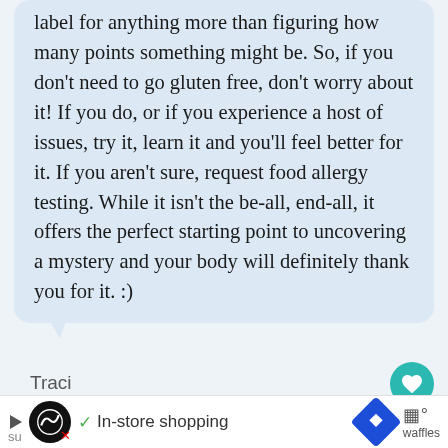label for anything more than figuring how many points something might be. So, if you don't need to go gluten free, don't worry about it! If you do, or if you experience a host of issues, try it, learn it and you'll feel better for it. If you aren't sure, request food allergy testing. While it isn't the be-all, end-all, it offers the perfect starting point to uncovering a mystery and your body will definitely thank you for it. :)
Traci
"My advice is that if you want to go gluten-free don't